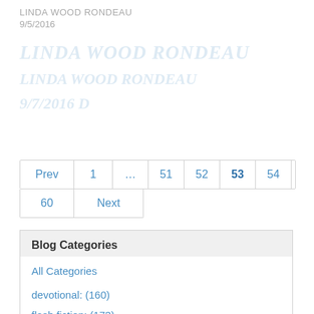LINDA WOOD RONDEAU
9/5/2016
LINDA WOOD RONDEAU 9/5/2016 (ghost/watermark overlay)
Pagination: Prev 1 … 51 52 53 54 55 … 60 Next
Blog Categories
All Categories
devotional: (160)
flash fiction: (173)